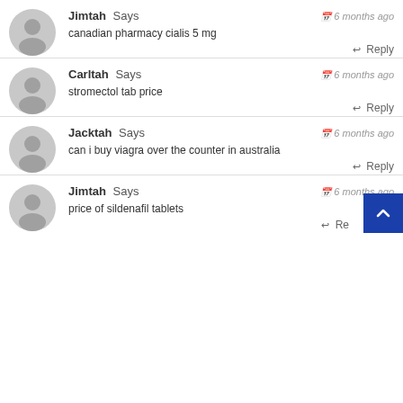Jimtah Says — 6 months ago
canadian pharmacy cialis 5 mg
↩ Reply
Carltah Says — 6 months ago
stromectol tab price
↩ Reply
Jacktah Says — 6 months ago
can i buy viagra over the counter in australia
↩ Reply
Jimtah Says — 6 months ago
price of sildenafil tablets
↩ Re...